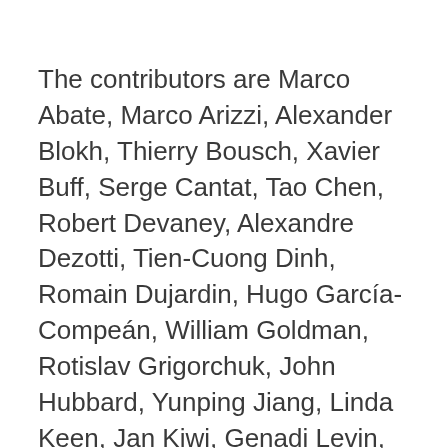The contributors are Marco Abate, Marco Arizzi, Alexander Blokh, Thierry Bousch, Xavier Buff, Serge Cantat, Tao Chen, Robert Devaney, Alexandre Dezotti, Tien-Cuong Dinh, Romain Dujardin, Hugo García-Compeán, William Goldman, Rotislav Grigorchuk, John Hubbard, Yunping Jiang, Linda Keen, Jan Kiwi, Genadi Levin, Daniel Meyer, John Milnor, Carlos Moreira, Vicente Muñoz, Viet-Anh Nguyên, Lex Oversteegen, Ricardo Pérez-Marco, Ross Ptacek, Jasmin Raissy, Pascale Roesch, Roberto Santos-Silva, Dierk Schleicher, Nessim Sibony, Daniel Smania, Tan Lei, William Thurston, Vladlen Timorin, Sebastian van Strien, and Alberto Verjovsky.